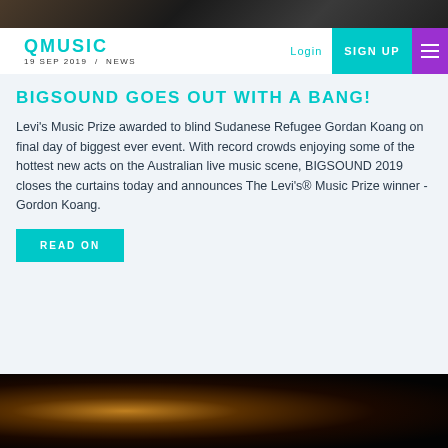[Figure (photo): Top banner image showing people, dark tones]
QMUSIC  Login  SIGN UP  19 SEP 2019 / NEWS
BIGSOUND GOES OUT WITH A BANG!
Levi's Music Prize awarded to blind Sudanese Refugee Gordan Koang on final day of biggest ever event. With record crowds enjoying some of the hottest new acts on the Australian live music scene, BIGSOUND 2019 closes the curtains today and announces The Levi's® Music Prize winner - Gordon Koang.
READ ON
[Figure (photo): Concert photo, dark background with stage lights and performer]